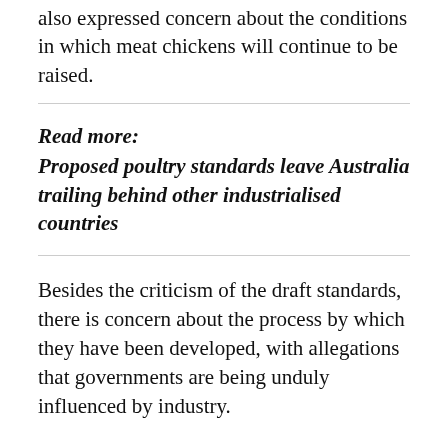also expressed concern about the conditions in which meat chickens will continue to be raised.
Read more:
Proposed poultry standards leave Australia trailing behind other industrialised countries
Besides the criticism of the draft standards, there is concern about the process by which they have been developed, with allegations that governments are being unduly influenced by industry.
Three scientists complained about selective and misleading use of their research to strengthen the case for conventional caged